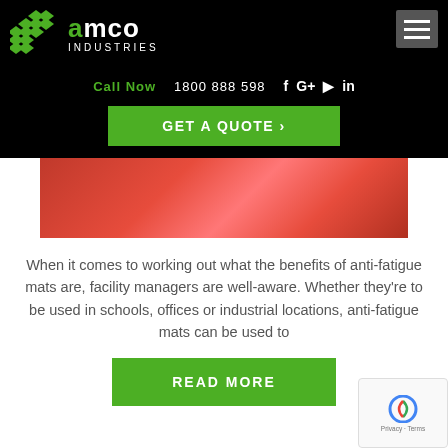[Figure (logo): AMCO Industries logo with green chevron/arrow icon and white text on black background]
Call Now   1800 888 598
GET A QUOTE >
[Figure (photo): Red textured rubber anti-fatigue mat surface close-up]
When it comes to working out what the benefits of anti-fatigue mats are, facility managers are well-aware. Whether they're to be used in schools, offices or industrial locations, anti-fatigue mats can be used to
READ MORE